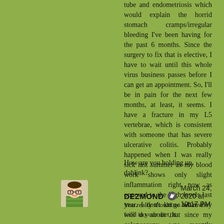tube and endometriosis which would explain the horrid stomach cramps/irregular bleeding I've been having for the past 6 months. Since the surgery to fix that is elective, I have to wait until this whole virus business passes before I can get an appointment. So, I'll be in pain for the next few months, at least, it seems. I have a fracture in my L5 vertebrae, which is consistent with someone that has severe ulcerative colitis. Probably happened when I was really sick last summer as my blood work shows only slight inflammation right now as opposed to the high levels last year. I don't know what they will do about that since my colonoscopy was recently cancelled. So, right now everything is a waiting game.
How are you holding up, dahlink?
[Figure (illustration): Small avatar/cartoon illustration of a person with glasses]
DEZMOND  March 24, 2020 at 10:17 PM
You really should go full raw food in your diet, it